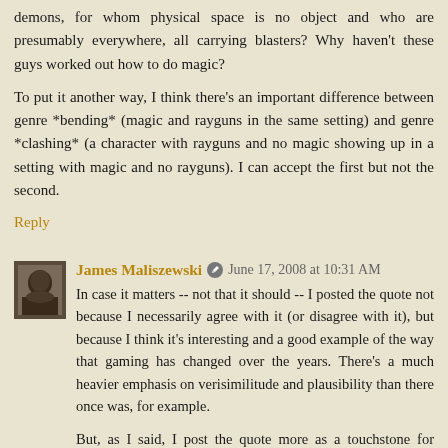demons, for whom physical space is no object and who are presumably everywhere, all carrying blasters? Why haven't these guys worked out how to do magic?
To put it another way, I think there's an important difference between genre *bending* (magic and rayguns in the same setting) and genre *clashing* (a character with rayguns and no magic showing up in a setting with magic and no rayguns). I can accept the first but not the second.
Reply
James Maliszewski  June 17, 2008 at 10:31 AM
In case it matters -- not that it should -- I posted the quote not because I necessarily agree with it (or disagree with it), but because I think it's interesting and a good example of the way that gaming has changed over the years. There's a much heavier emphasis on verisimilitude and plausibility than there once was, for example.
But, as I said, I post the quote more as a touchstone for discussion than as something I unequivocally endorse (or